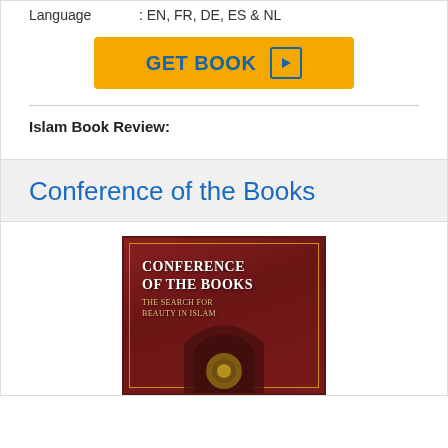Language : EN, FR, DE, ES & NL
[Figure (other): GET BOOK button with play icon, yellow background with blue text]
Islam Book Review:
Conference of the Books
[Figure (photo): Book cover image: Conference of the Books - The Search for Beauty in Islam, dark red/burgundy cover with ornate border and archway design]